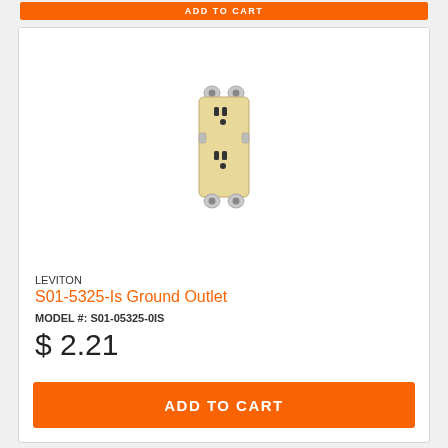[Figure (photo): Orange ADD TO CART button at the top of the page, partially visible]
[Figure (photo): Leviton S01-5325-Is ivory duplex electrical outlet/receptacle with mounting ears, front-facing view]
LEVITON
S01-5325-Is Ground Outlet
MODEL #: S01-05325-0IS
$ 2.21
ADD TO CART